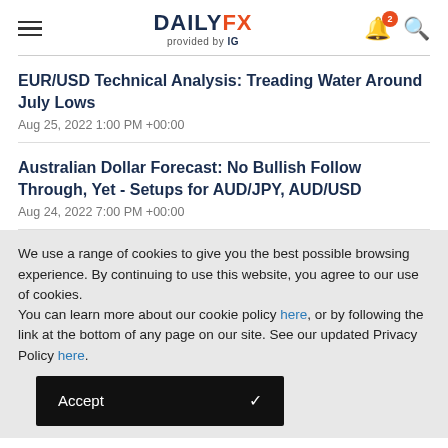DAILYFX provided by IG
EUR/USD Technical Analysis: Treading Water Around July Lows
Aug 25, 2022 1:00 PM +00:00
Australian Dollar Forecast: No Bullish Follow Through, Yet - Setups for AUD/JPY, AUD/USD
Aug 24, 2022 7:00 PM +00:00
We use a range of cookies to give you the best possible browsing experience. By continuing to use this website, you agree to our use of cookies.
You can learn more about our cookie policy here, or by following the link at the bottom of any page on our site. See our updated Privacy Policy here.
Accept